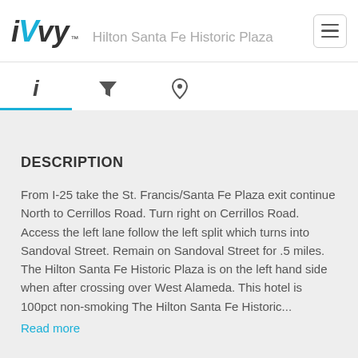iVvy — Hilton Santa Fe Historic Plaza
DESCRIPTION
From I-25 take the St. Francis/Santa Fe Plaza exit continue North to Cerrillos Road. Turn right on Cerrillos Road. Access the left lane follow the left split which turns into Sandoval Street. Remain on Sandoval Street for .5 miles. The Hilton Santa Fe Historic Plaza is on the left hand side when after crossing over West Alameda. This hotel is 100pct non-smoking The Hilton Santa Fe Historic...
Read more